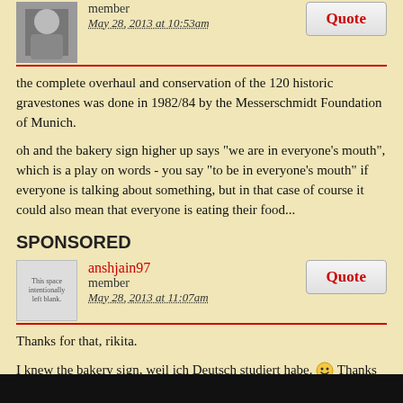[Figure (photo): User avatar photo - person sitting]
member
May 28, 2013 at 10:53am
the complete overhaul and conservation of the 120 historic gravestones was done in 1982/84 by the Messerschmidt Foundation of Munich.
oh and the bakery sign higher up says "we are in everyone's mouth", which is a play on words - you say "to be in everyone's mouth" if everyone is talking about something, but in that case of course it could also mean that everyone is eating their food...
SPONSORED
[Figure (other): Blank avatar with text: This space intentionally left blank.]
anshjain97
member
May 28, 2013 at 11:07am
Thanks for that, rikita.
I knew the bakery sign, weil ich Deutsch studiert habe. 🙂 Thanks anyways.
[Figure (photo): User avatar photo - patricklondon]
patricklondon
member
May 28, 2013 at 3:05pm